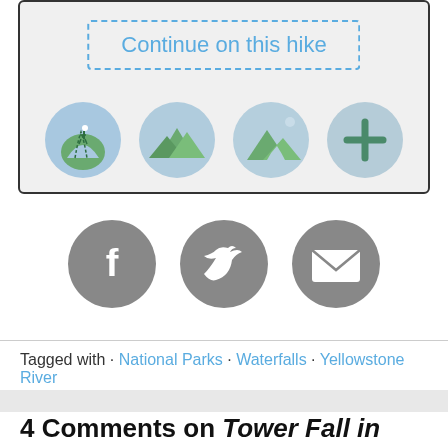[Figure (screenshot): A UI box with a dashed-border 'Continue on this hike' button and four circular hiking-related icons (hiker on trail, mountains, mountain with path, plus sign) on a light gray background with a dark border.]
[Figure (screenshot): Three gray circular social share buttons: Facebook (f), Twitter (bird), and Email (envelope).]
Tagged with · National Parks · Waterfalls · Yellowstone River
4 Comments on Tower Fall in Yellowstone National Park